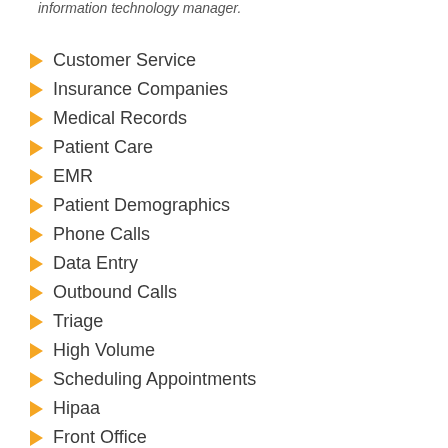information technology manager.
Customer Service
Insurance Companies
Medical Records
Patient Care
EMR
Patient Demographics
Phone Calls
Data Entry
Outbound Calls
Triage
High Volume
Scheduling Appointments
Hipaa
Front Office